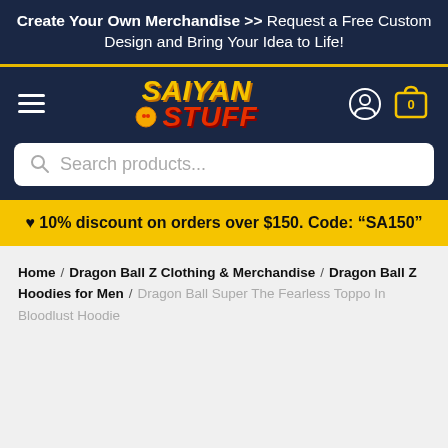Create Your Own Merchandise >> Request a Free Custom Design and Bring Your Idea to Life!
[Figure (logo): Saiyan Stuff logo with yellow 'SAIYAN' text and red 'STUFF' text and a Dragon Ball sphere icon]
Search products...
❤ 10% discount on orders over $150. Code: "SA150"
Home / Dragon Ball Z Clothing & Merchandise / Dragon Ball Z Hoodies for Men / Dragon Ball Super The Fearless Toppo In Bloodlust Hoodie